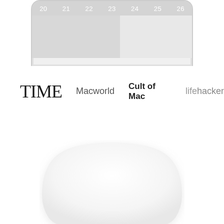[Figure (screenshot): Top portion of a smartphone showing a calendar app with days 20-26 visible, device has rounded corners at top, gray calendar grid]
[Figure (logo): Press/media logos row: TIME (serif large), Macworld (gray sans), Cult of Mac (bold dark sans), lifehacker (light gray sans)]
[Figure (illustration): Bottom portion of a white rounded smart home device or speaker, white with soft shadow, only top dome visible]